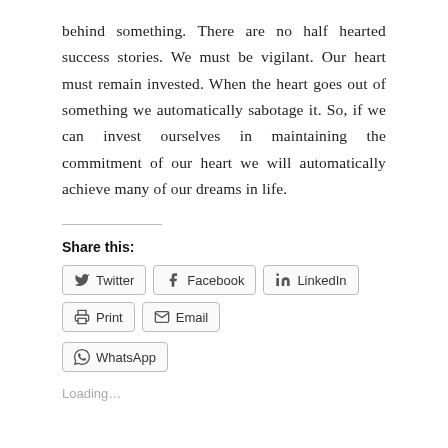behind something. There are no half hearted success stories. We must be vigilant. Our heart must remain invested. When the heart goes out of something we automatically sabotage it. So, if we can invest ourselves in maintaining the commitment of our heart we will automatically achieve many of our dreams in life.
Share this:
Twitter  Facebook  LinkedIn  Print  Email  WhatsApp
Loading...